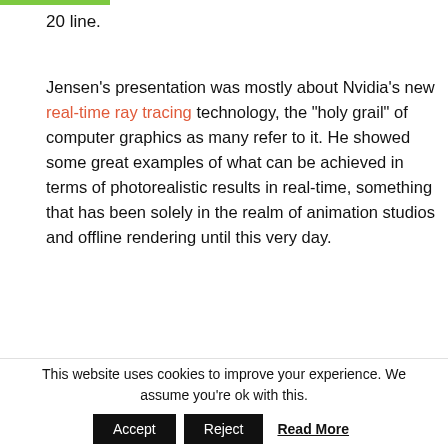20 line.
Jensen’s presentation was mostly about Nvidia’s new real-time ray tracing technology, the “holy grail” of computer graphics as many refer to it. He showed some great examples of what can be achieved in terms of photorealistic results in real-time, something that has been solely in the realm of animation studios and offline rendering until this very day.
[Figure (screenshot): Dark screenshot of a Battlefield V video on Nvidia GeForce, showing the game logo and partial title text.]
This website uses cookies to improve your experience. We assume you're ok with this. Accept Reject Read More